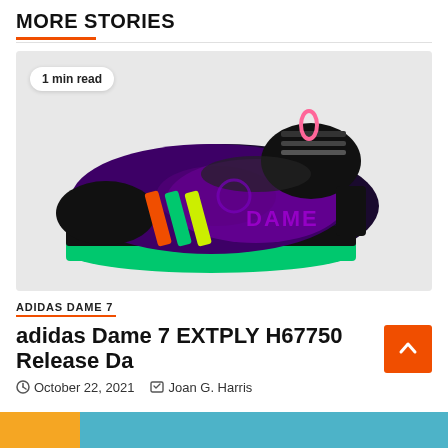MORE STORIES
[Figure (photo): Adidas Dame 7 EXTPLY basketball shoe in black with purple, orange, green accents and neon green sole, side profile view]
1 min read
ADIDAS DAME 7
adidas Dame 7 EXTPLY H67750 Release Da
October 22, 2021   Joan G. Harris